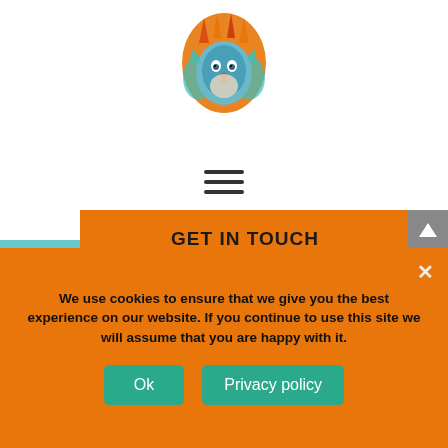[Figure (logo): Colorful lion head logo with orange mane and teal/blue face]
[Figure (illustration): Hamburger menu icon - three horizontal lines]
[Figure (illustration): Decorative background with teal blue and peach/cream diagonal shapes]
GET IN TOUCH
Subscribe To Our Email Newsletter
Join our mailing list to receive an update on digital marketing news, exclusive offers, marketing tips, and updates from Lion Spirit Media.
We generally email once a month and promise not to send you any unwanted mail! You can unsubscribe at any time!
We use cookies to ensure that we give you the best experience on our website. If you continue to use this site we will assume that you are happy with it.
Ok
Privacy policy